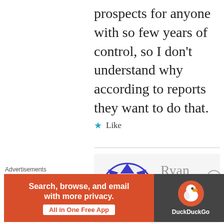prospects for anyone with so few years of control, so I don't understand why according to reports they want to do that.
★ Like
[Figure (illustration): Avatar icon — blue geometric snowflake/quilt pattern in a circle]
Ryan
NOVEMBER 26, 2018 AT 10:20 AM
Advertisements
[Figure (screenshot): DuckDuckGo advertisement banner: orange left panel with 'Search, browse, and email with more privacy. All in One Free App', dark right panel with DuckDuckGo duck logo and DuckDuckGo text.]